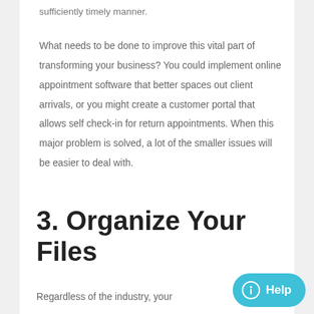sufficiently timely manner.
What needs to be done to improve this vital part of transforming your business? You could implement online appointment software that better spaces out client arrivals, or you might create a customer portal that allows self check-in for return appointments. When this major problem is solved, a lot of the smaller issues will be easier to deal with.
3. Organize Your Files
Regardless of the industry, your